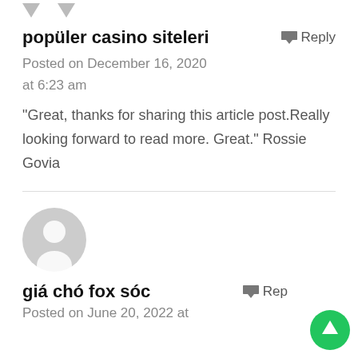[Figure (other): Two downward vote arrows at the top of the comment section]
popüler casino siteleri
Posted on December 16, 2020 at 6:23 am
"Great, thanks for sharing this article post.Really looking forward to read more. Great." Rossie Govia
[Figure (other): Gray default user avatar circle with person silhouette]
giá chó fox sóc
Posted on June 20, 2022 at
[Figure (other): Green circular scroll-to-top button with upward arrow]